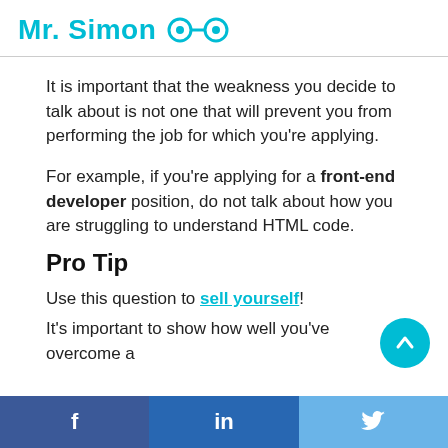Mr. Simon
It is important that the weakness you decide to talk about is not one that will prevent you from performing the job for which you're applying.
For example, if you're applying for a front-end developer position, do not talk about how you are struggling to understand HTML code.
Pro Tip
Use this question to sell yourself!
It's important to show how well you've overcome a
f   in   (twitter bird)